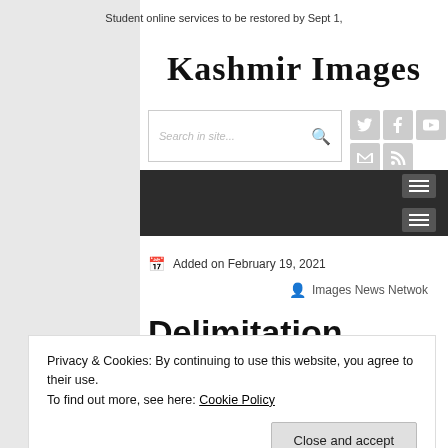Student online services to be restored by Sept 1,
Kashmir Images
Added on February 19, 2021
Images News Netwok
Delimitation panel associate members from
Privacy & Cookies: By continuing to use this website, you agree to their use.
To find out more, see here: Cookie Policy
Close and accept